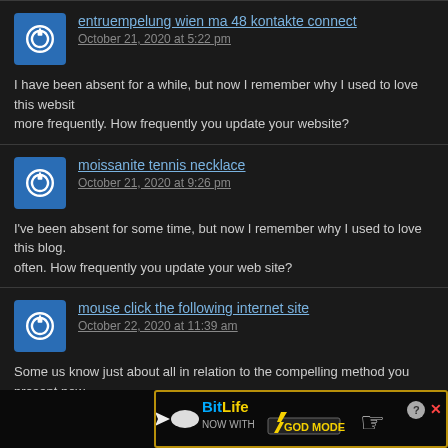entruempelung wien ma 48 kontakte connect
October 21, 2020 at 5:22 pm
I have been absent for a while, but now I remember why I used to love this website. more frequently. How frequently you update your website?
moissanite tennis necklace
October 21, 2020 at 9:26 pm
I've been absent for some time, but now I remember why I used to love this blog. often. How frequently you update your web site?
mouse click the following internet site
October 22, 2020 at 11:39 am
Some us know just about all in relation to the compelling method you present pow result strongly inspire contribution coming from other kinds of d of subject discovering some sort of great deal. Have entertaining with the portion involving th
[Figure (infographic): BitLife advertisement banner: NOW WITH GOD MODE, with lightning bolt graphic and pointing hand illustration]